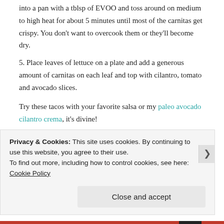into a pan with a tblsp of EVOO and toss around on medium to high heat for about 5 minutes until most of the carnitas get crispy. You don't want to overcook them or they'll become dry.
5. Place leaves of lettuce on a plate and add a generous amount of carnitas on each leaf and top with cilantro, tomato and avocado slices.
Try these tacos with your favorite salsa or my paleo avocado cilantro crema, it's divine!
PRINTABLE RECIPE
Privacy & Cookies: This site uses cookies. By continuing to use this website, you agree to their use.
To find out more, including how to control cookies, see here: Cookie Policy
Close and accept